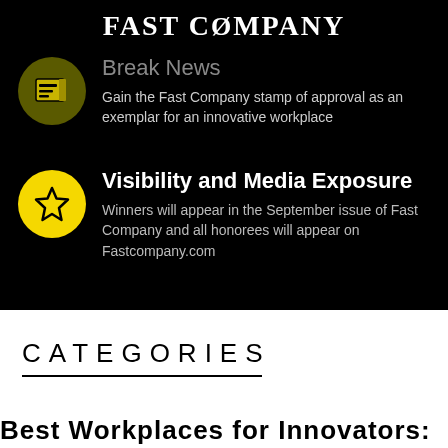FAST COMPANY
Break News
Gain the Fast Company stamp of approval as an exemplar for an innovative workplace
Visibility and Media Exposure
Winners will appear in the September issue of Fast Company and all honorees will appear on Fastcompany.com
CATEGORIES
Best Workplaces for Innovators: United...